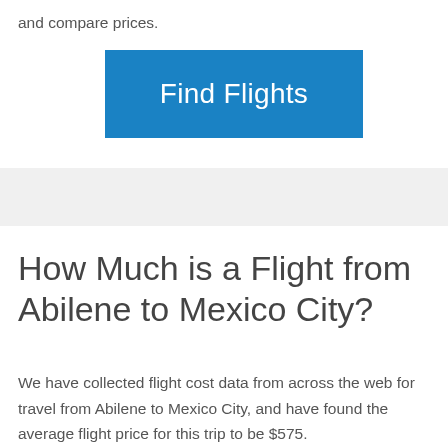and compare prices.
[Figure (other): Blue 'Find Flights' button]
How Much is a Flight from Abilene to Mexico City?
We have collected flight cost data from across the web for travel from Abilene to Mexico City, and have found the average flight price for this trip to be $575.